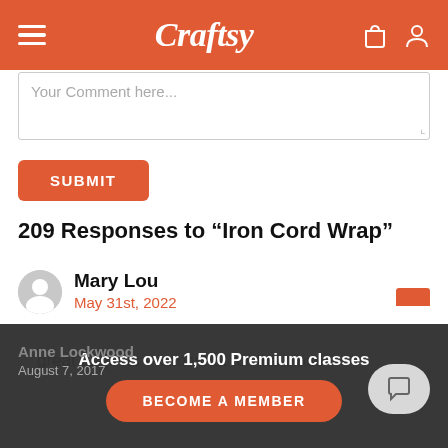Craftsy
Your Comment here...
SUBMIT
209 Responses to “Iron Cord Wrap”
Mary Lou
May 31st, 2022
great projects – can what for the class
Anne Lockwood
Access over 1,500 Premium classes
BECOME A MEMBER